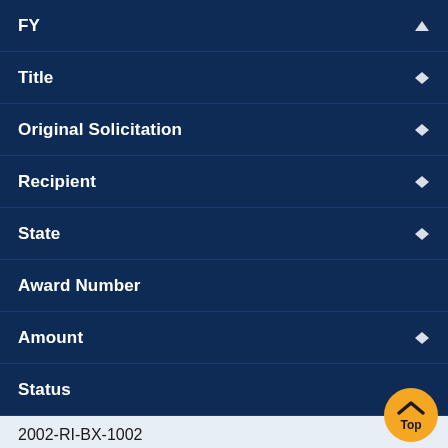| FY | Title | Original Solicitation | Recipient | State | Award Number | Amount | Status |
| --- | --- | --- | --- | --- | --- | --- | --- |
|  |  |  |  |  | 2002-RI-BX-1002 | $376,180 | Closed |